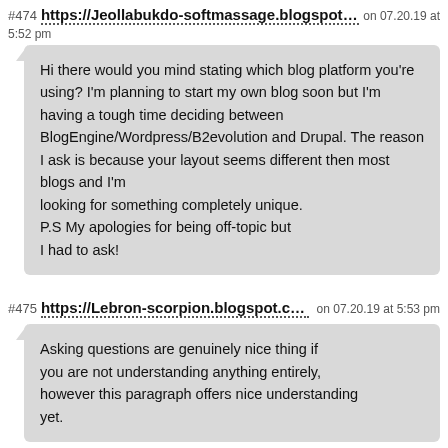#474 https://Jeollabukdo-softmassage.blogspot.com on 07.20.19 at 5:52 pm
Hi there would you mind stating which blog platform you're using? I'm planning to start my own blog soon but I'm having a tough time deciding between BlogEngine/Wordpress/B2evolution and Drupal. The reason I ask is because your layout seems different then most blogs and I'm looking for something completely unique. P.S My apologies for being off-topic but I had to ask!
#475 https://Lebron-scorpion.blogspot.com on 07.20.19 at 5:53 pm
Asking questions are genuinely nice thing if you are not understanding anything entirely, however this paragraph offers nice understanding yet.
https://